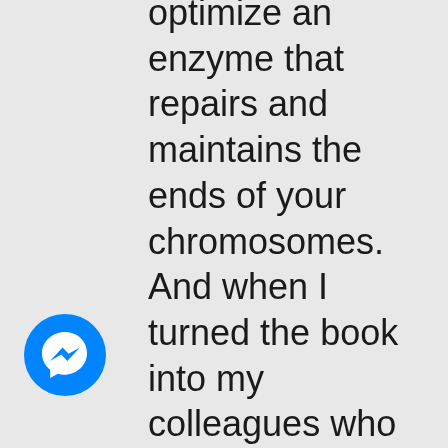optimize an enzyme that repairs and maintains the ends of your chromosomes. And when I turned the book into my colleagues who had written about that, Elissa Epel – one of them – wrote me back. She said, “Dan, this is a great book and everything’s accurate, but you left something out.” And I go, “Oh my God, I have to
[Figure (logo): Facebook Messenger circular icon — blue circle with white lightning bolt chat bubble]